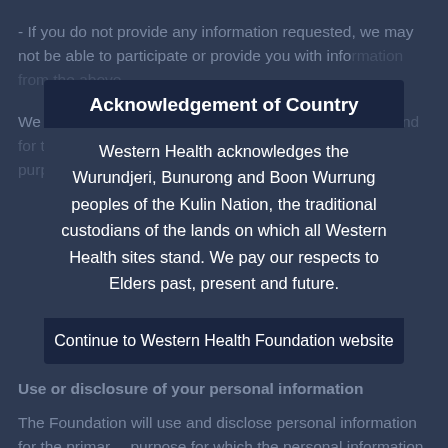- If you do not provide any information requested, we may not be able to participate or provide you with information from the above.
We may collect personal information from a third party and for the same reasons as above, you are aware of this purpose and personal our members.
Use or disclosure of your personal information
The Foundation will use and disclose personal information for the primary purpose for which the personal information was collected or for purposes related to or ancillary to that primary purpose. We do not disclose collected personal information to third
Acknowledgement of Country
Western Health acknowledges the Wurundjeri, Bunurong and Boon Wurrung peoples of the Kulin Nation, the traditional custodians of the lands on which all Western Health sites stand. We pay our respects to Elders past, present and future.
Continue to Western Health Foundation website